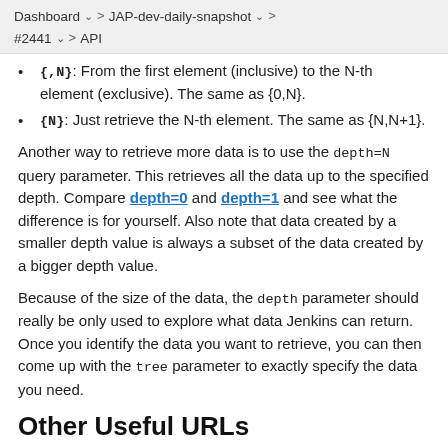Dashboard > JAP-dev-daily-snapshot > #2441 > API
{,N}: From the first element (inclusive) to the N-th element (exclusive). The same as {0,N}.
{N}: Just retrieve the N-th element. The same as {N,N+1}.
Another way to retrieve more data is to use the depth=N query parameter. This retrieves all the data up to the specified depth. Compare depth=0 and depth=1 and see what the difference is for yourself. Also note that data created by a smaller depth value is always a subset of the data created by a bigger depth value.
Because of the size of the data, the depth parameter should really be only used to explore what data Jenkins can return. Once you identify the data you want to retrieve, you can then come up with the tree parameter to exactly specify the data you need.
Other Useful URLs